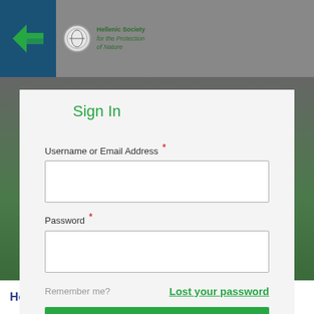[Figure (screenshot): Website header with dark teal logo area containing a green arrow icon and Hellenic Society for the Protection of Nature organization logo and text]
Sign In
Username or Email Address *
Password *
Remember me?
Lost your password
Sign In
Hotel Overview